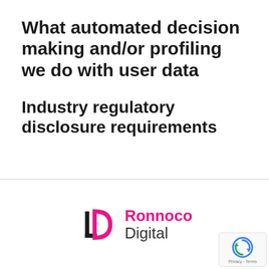What automated decision making and/or profiling we do with user data
Industry regulatory disclosure requirements
[Figure (logo): Ronnoco Digital logo with stylized R/D monogram in black and pink, beside the text 'Ronnoco' in pink and 'Digital' in dark grey]
[Figure (other): Google reCAPTCHA badge with circular arrow icon and 'Privacy - Terms' text]